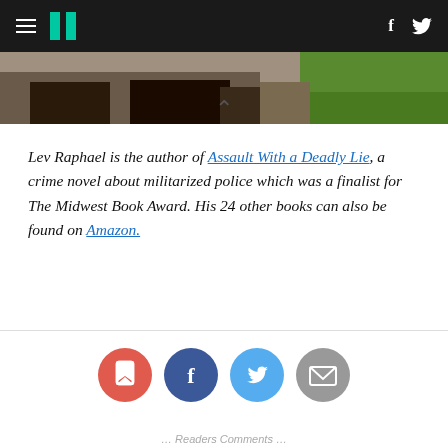HuffPost navigation bar with hamburger menu, logo, Facebook and Twitter icons
[Figure (photo): Partial bottom strip of an outdoor photo showing ground, grass and dark figures/shoes]
Lev Raphael is the author of Assault With a Deadly Lie, a crime novel about militarized police which was a finalist for The Midwest Book Award. His 24 other books can also be found on Amazon.
[Figure (infographic): Social sharing buttons row: bookmark (red), Facebook (dark blue), Twitter (light blue), email (grey)]